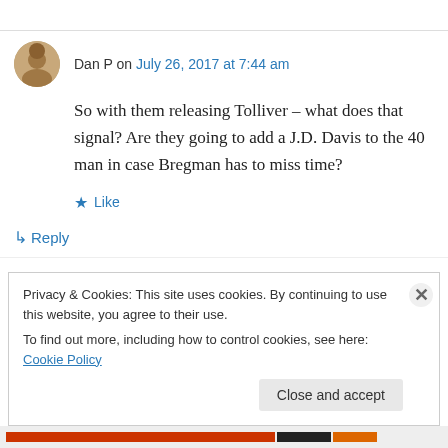Dan P on July 26, 2017 at 7:44 am
So with them releasing Tolliver – what does that signal? Are they going to add a J.D. Davis to the 40 man in case Bregman has to miss time?
★ Like
↳ Reply
Privacy & Cookies: This site uses cookies. By continuing to use this website, you agree to their use.
To find out more, including how to control cookies, see here: Cookie Policy
Close and accept